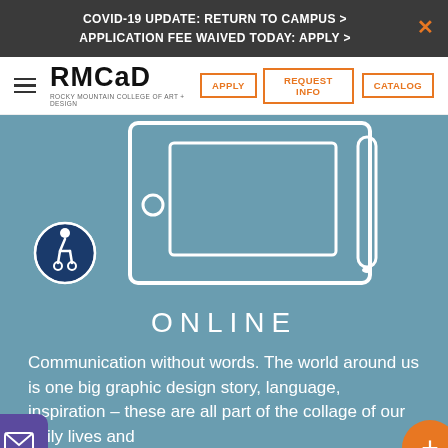COVID-19 UPDATE: RETURN TO CAMPUS > APPLICATION FEE WAIVED TODAY: APPLY >
[Figure (logo): RMCAD Rocky Mountain College of Art + Design logo with hamburger menu, APPLY, REQUEST INFO, and CATALOG navigation buttons]
[Figure (illustration): Illustration of a drawing tablet with stylus on a steel blue background, with accessibility (wheelchair) icon badge in lower left]
ONLINE
Communication without words. The world around us is one big graphic design story, language, inspiration – these are all part of the collage of our daily lives and